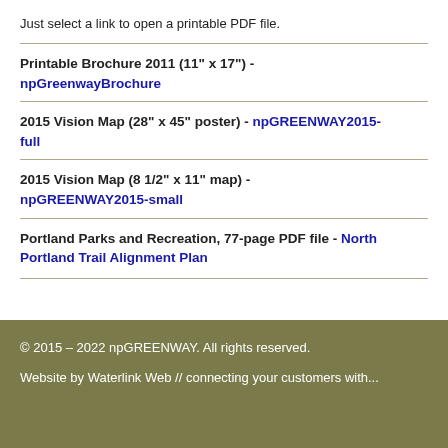Just select a link to open a printable PDF file.
Printable Brochure 2011 (11" x 17") - npGreenwayBrochure
2015 Vision Map (28" x 45" poster) - npGREENWAY2015-full
2015 Vision Map (8 1/2" x 11" map) - npGREENWAY2015-small
Portland Parks and Recreation, 77-page PDF file - North Portland Trail Alignment Plan
© 2015 – 2022 npGREENWAY. All rights reserved.

Website by Waterlink Web // connecting your customers with...